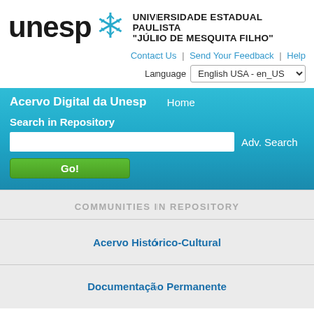[Figure (logo): UNESP logo with snowflake icon and text 'UNIVERSIDADE ESTADUAL PAULISTA "JÚLIO DE MESQUITA FILHO"']
Contact Us | Send Your Feedback | Help
Language  English USA - en_US
Acervo Digital da Unesp   Home
Search in Repository
Adv. Search
Go!
COMMUNITIES IN REPOSITORY
Acervo Histórico-Cultural
Documentação Permanente